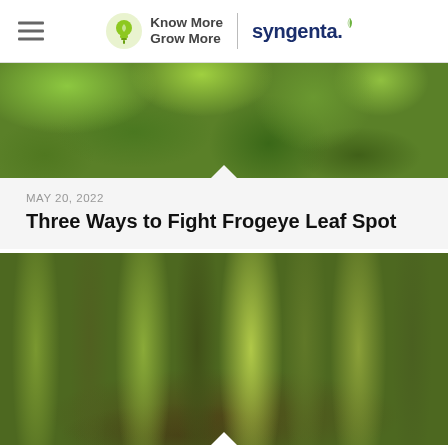Know More Grow More | Syngenta
[Figure (photo): Close-up photo of green soybean plant leaves with some yellowing and spots, showing frogeye leaf spot disease symptoms]
MAY 20, 2022
Three Ways to Fight Frogeye Leaf Spot
[Figure (photo): Photo of a corn field with tall corn stalks growing in rows, viewed from within the field looking down the rows]